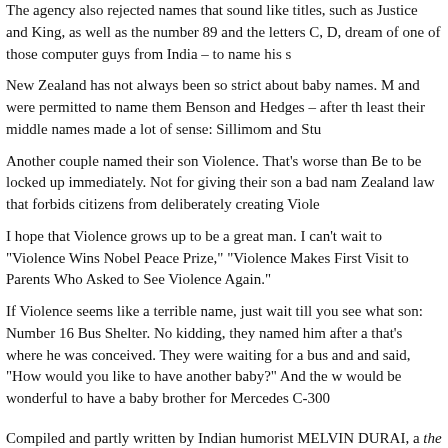The agency also rejected names that sound like titles, such as Justice and King, as well as the number 89 and the letters C, D, dream of one of those computer guys from India – to name his s
New Zealand has not always been so strict about baby names. M and were permitted to name them Benson and Hedges – after th least their middle names made a lot of sense: Sillimom and Stu
Another couple named their son Violence. That's worse than Be to be locked up immediately. Not for giving their son a bad nam Zealand law that forbids citizens from deliberately creating Viole
I hope that Violence grows up to be a great man. I can't wait to "Violence Wins Nobel Peace Prize," "Violence Makes First Visit to Parents Who Asked to See Violence Again."
If Violence seems like a terrible name, just wait till you see what son: Number 16 Bus Shelter. No kidding, they named him after a that's where he was conceived. They were waiting for a bus and and said, "How would you like to have another baby?" And the w would be wonderful to have a baby brother for Mercedes C-300
Compiled and partly written by Indian humorist MELVIN DURAI, a the Plunge.
[Comments? Contributions? We would love to hear from you abo contributions, please email us at melvin@melvindurai.com. We cling and more]